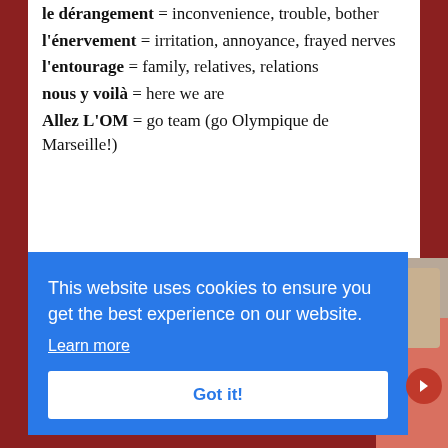le dérangement = inconvenience, trouble, bother
l'énervement = irritation, annoyance, frayed nerves
l'entourage = family, relatives, relations
nous y voilà = here we are
Allez L'OM = go team (go Olympique de Marseille!)
This website uses cookies to ensure you get the best experience on our website.
Learn more
Got it!
[Figure (photo): Photo of people, partially visible on the right side of the page, with a person in a pink/coral shirt visible]